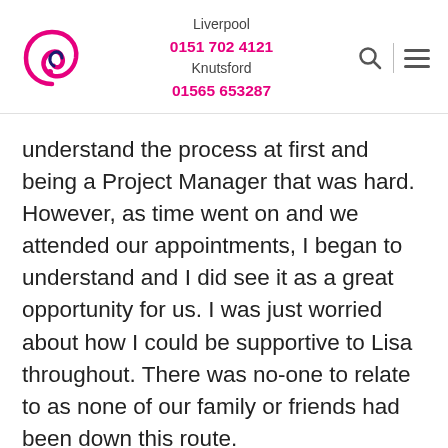Liverpool 0151 702 4121 Knutsford 01565 653287
understand the process at first and being a Project Manager that was hard. However, as time went on and we attended our appointments, I began to understand and I did see it as a great opportunity for us. I was just worried about how I could be supportive to Lisa throughout. There was no-one to relate to as none of our family or friends had been down this route.
I tried to support Lisa as much as possible and administered her injections for her. Giving Lisa